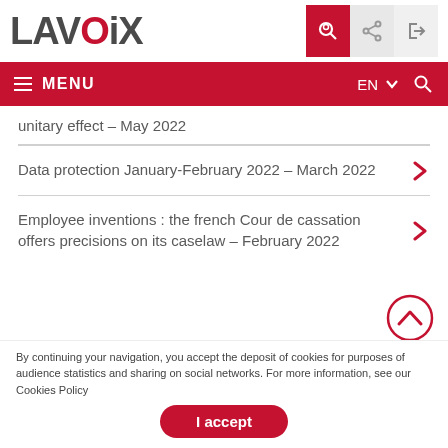LAVOIX
unitary effect – May 2022
Data protection January-February 2022 – March 2022
Employee inventions : the french Cour de cassation offers precisions on its caselaw – February 2022
By continuing your navigation, you accept the deposit of cookies for purposes of audience statistics and sharing on social networks. For more information, see our Cookies Policy
I accept